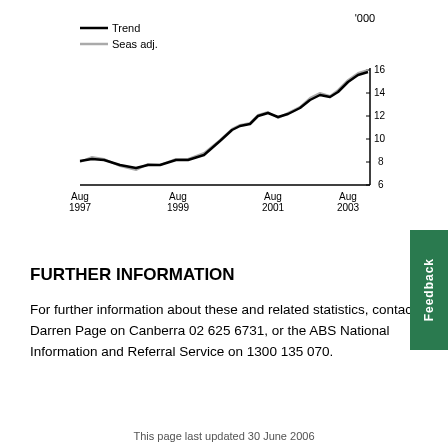[Figure (line-chart): Line chart showing Trend (black) and Seas adj. (gray) from Aug 1997 to Aug 2003, values ranging from about 6 to 16 ('000)]
FURTHER INFORMATION
For further information about these and related statistics, contact Darren Page on Canberra 02 625 6731, or the ABS National Information and Referral Service on 1300 135 070.
This page last updated 30 June 2006